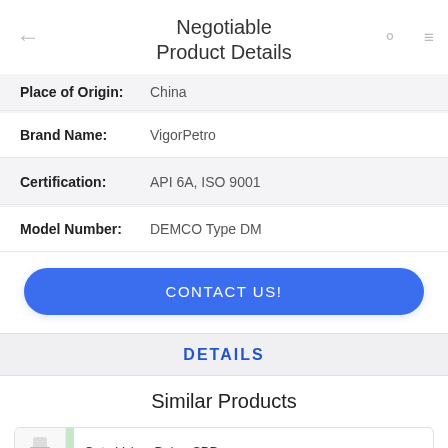Negotiable Product Details
| Field | Value |
| --- | --- |
| Place of Origin: | China |
| Brand Name: | VigorPetro |
| Certification: | API 6A, ISO 9001 |
| Model Number: | DEMCO Type DM |
CONTACT US!
DETAILS
Similar Products
Gate Valve, Baker SPD